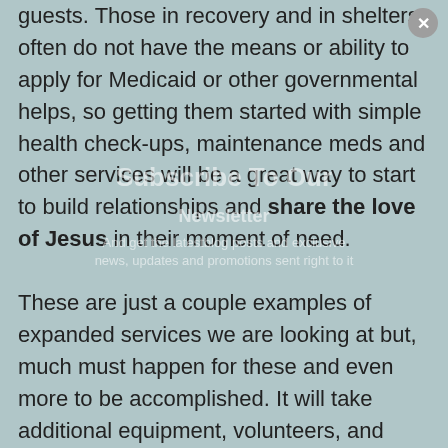guests. Those in recovery and in shelters often do not have the means or ability to apply for Medicaid or other governmental helps, so getting them started with simple health check-ups, maintenance meds and other services will be a great way to start to build relationships and share the love of Jesus in their moment of need.

These are just a couple examples of expanded services we are looking at but, much must happen for these and even more to be accomplished. It will take additional equipment, volunteers, and funding to be successful. That is where YOU CAN HELP more lives be impacted and the Gospel spread farther. Our financial need for these projects to happen is $20,000.00. Please prayerfully consider what you can give, who you can talk to on our behalf, or how you can diligently pray for this programming. Please take a moment and go to www.livingwellclinic.org to give,